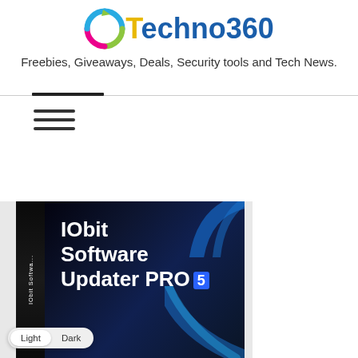[Figure (logo): Techno360 website logo with circular arrow icon in blue, green, pink/magenta colors and the text 'Techno360']
Freebies, Giveaways, Deals, Security tools and Tech News.
[Figure (other): Hamburger menu icon (three horizontal lines) with a horizontal divider line across the page]
[Figure (photo): IObit Software Updater PRO 5 product box showing the software box with spine text 'IObit Software...' and front panel with product name and blue arc decoration]